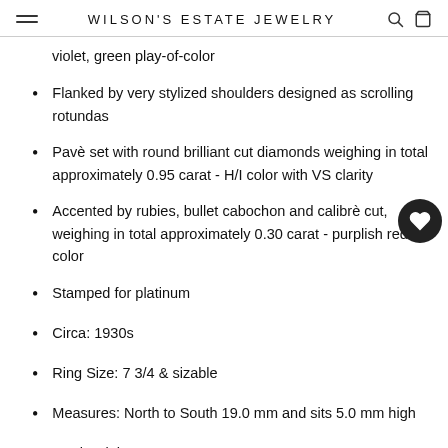WILSON'S ESTATE JEWELRY
violet, green play-of-color
Flanked by very stylized shoulders designed as scrolling rotundas
Pavè set with round brilliant cut diamonds weighing in total approximately 0.95 carat - H/I color with VS clarity
Accented by rubies, bullet cabochon and calibrè cut, weighing in total approximately 0.30 carat - purplish red in color
Stamped for platinum
Circa: 1930s
Ring Size: 7 3/4 & sizable
Measures: North to South 19.0 mm and sits 5.0 mm high
Total weight: 8.1 grams
Estim…tic Sele…tic For…